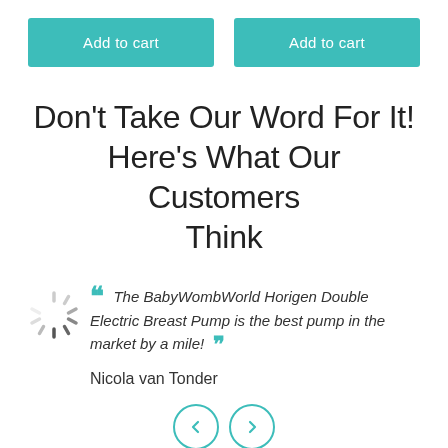[Figure (other): Two teal 'Add to cart' buttons side by side]
Don't Take Our Word For It! Here's What Our Customers Think
[Figure (other): Loading spinner icon and testimonial quote with teal quotation marks: The BabyWombWorld Horigen Double Electric Breast Pump is the best pump in the market by a mile!]
Nicola van Tonder
[Figure (other): Left and right navigation arrow buttons in teal circular outlines]